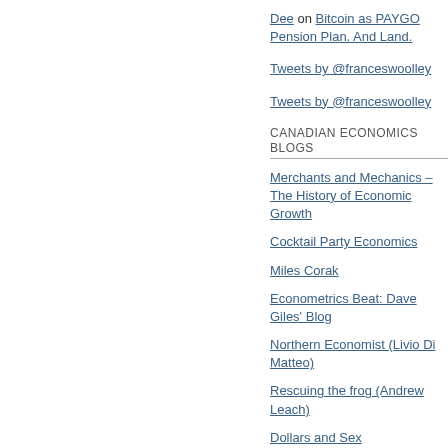Dee on Bitcoin as PAYGO Pension Plan. And Land.
Tweets by @franceswoolley
Tweets by @franceswoolley
CANADIAN ECONOMICS BLOGS
Merchants and Mechanics – The History of Economic Growth
Cocktail Party Economics
Miles Corak
Econometrics Beat: Dave Giles' Blog
Northern Economist (Livio Di Matteo)
Rescuing the frog (Andrew Leach)
Dollars and Sex
The Cuban Economy – La Economia Cubana
Stephen Williamson
David Andolfatto: MacroMania